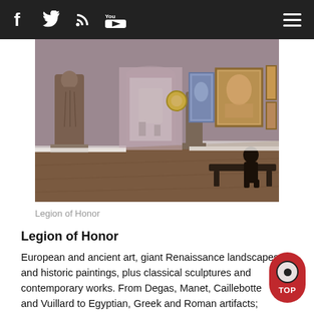Navigation bar with social icons: Facebook, Twitter, RSS, YouTube, and hamburger menu
[Figure (photo): Interior of the Legion of Honor museum gallery showing sculptures, large paintings on mauve walls, and a visitor seated on a bench viewing artwork]
Legion of Honor
Legion of Honor
European and ancient art, giant Renaissance landscapes and historic paintings, plus classical sculptures and contemporary works. From Degas, Manet, Caillebotte and Vuillard to Egyptian, Greek and Roman artifacts; also Wangechi Mutu's fascinating modern outdoor and indoor sculptures. Tue-Sun, 9:30am-5:15pm. Free/$15.
legionofhonor.famsf.org